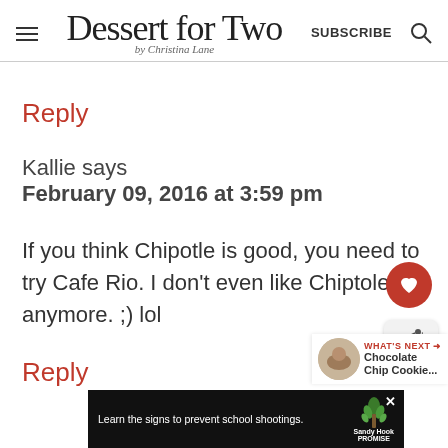Dessert for Two by Christina Lane | SUBSCRIBE
Reply
Kallie says
February 09, 2016 at 3:59 pm
If you think Chipotle is good, you need to try Cafe Rio. I don't even like Chiptole anymore. ;) lol
Reply
[Figure (screenshot): Ad banner: Learn the signs to prevent school shootings. Sandy Hook Promise.]